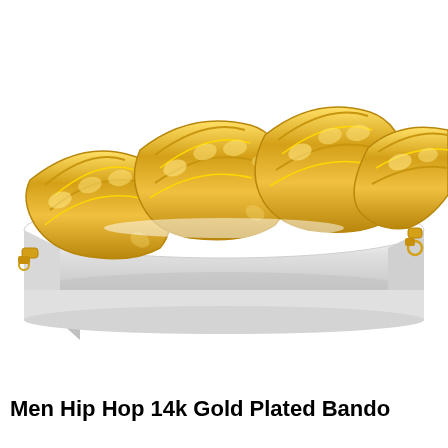[Figure (photo): Product photo of four gold Cuban link bracelets displayed on a white cylindrical jewelry display stand. The bracelets are 14k gold plated with large flat curb/Miami Cuban link chain links. Each bracelet hangs over the stand showing the lobster claw clasps. The background is white.]
Men Hip Hop 14k Gold Plated Bando